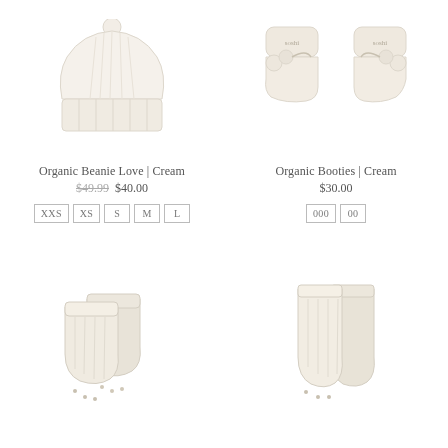[Figure (photo): White/cream knit beanie with pom-pom on top]
[Figure (photo): Cream knit baby booties with pom-pom ties, labeled soshi]
Organic Beanie Love | Cream
$49.99  $40.00
XXS  XS  S  M  L
Organic Booties | Cream
$30.00
000  00
[Figure (photo): Cream/white baby ankle socks with grip bottom, short style]
[Figure (photo): Cream/white baby socks, taller ribbed style with grip bottom]